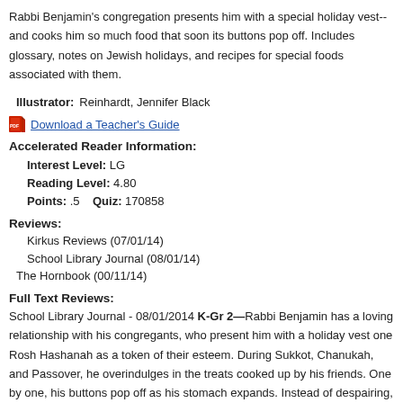Rabbi Benjamin's congregation presents him with a special holiday vest--and cooks him so much food that soon its buttons pop off. Includes glossary, notes on Jewish holidays, and recipes for special foods associated with them.
Illustrator: Reinhardt, Jennifer Black
Download a Teacher's Guide
Accelerated Reader Information:
Interest Level: LG
Reading Level: 4.80
Points: .5   Quiz: 170858
Reviews:
Kirkus Reviews (07/01/14)
School Library Journal (08/01/14)
The Hornbook (00/11/14)
Full Text Reviews:
School Library Journal - 08/01/2014 K-Gr 2—Rabbi Benjamin has a loving relationship with his congregants, who present him with a holiday vest one Rosh Hashanah as a token of their esteem. During Sukkot, Chanukah, and Passover, he overindulges in the treats cooked up by his friends. One by one, his buttons pop off as his stomach expands. Instead of despairing, the man spends the summer helping his friends with tasks that give him a good workout, and by the following Rosh Hashanah, he is pleased to accept a wonderful new vest (with the retrieved buttons) to replace the stretched and battered old one. A number of positive themes run through this story: community, hospitality, health, problem